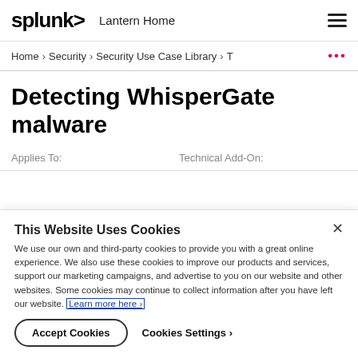splunk> Lantern Home ☰
Home › Security › Security Use Case Library › T •••
Detecting WhisperGate malware
Applies To:    Technical Add-On:
This Website Uses Cookies
We use our own and third-party cookies to provide you with a great online experience. We also use these cookies to improve our products and services, support our marketing campaigns, and advertise to you on our website and other websites. Some cookies may continue to collect information after you have left our website. Learn more here ›
Accept Cookies    Cookies Settings ›